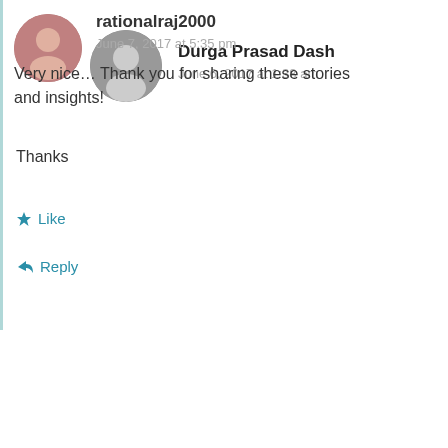Durga Prasad Dash
June 6, 2017 at 1:38 am
Thanks
Like
Reply
rationalraj2000
June 7, 2017 at 5:35 pm
Very nice… Thank you for sharing these stories and insights!